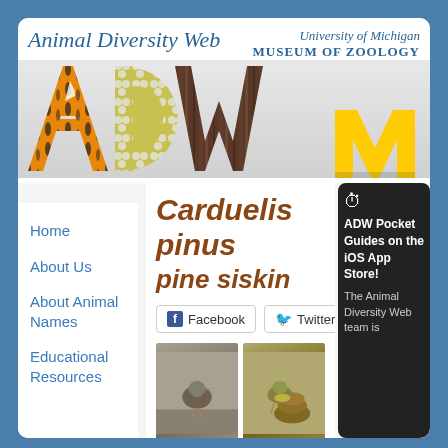[Figure (screenshot): Animal Diversity Web header with ADW logo letters A, D, W filled with animal textures, University of Michigan Museum of Zoology branding, and Michigan M logo]
Home
About Us
About Animal Names
Educational Resources
Carduelis pinus
pine siskin
[Figure (photo): Two photos of pine siskin bird - left shows bird on ground, right shows bird on pine cone]
ADW Pocket Guides on the iOS App Store! The Animal Diversity Web team is